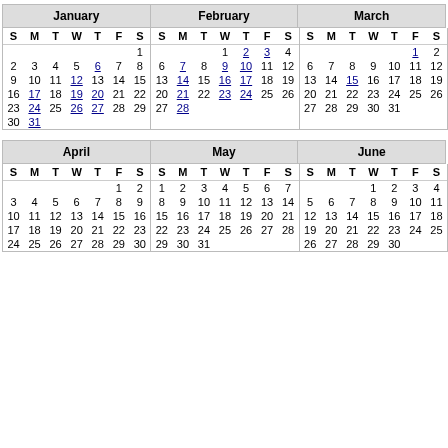| January | February | March |
| --- | --- | --- |
| S M T W T F S | S M T W T F S | S M T W T F S |
| 1 | 1 2 3 4 5 | 1 2 3 4 5 |
| 2 3 4 5 6 7 8 | 6 7 8 9 10 11 12 | 6 7 8 9 10 11 12 |
| 9 10 11 12 13 14 15 | 13 14 15 16 17 18 19 | 13 14 15 16 17 18 19 |
| 16 17 18 19 20 21 22 | 20 21 22 23 24 25 26 | 20 21 22 23 24 25 26 |
| 23 24 25 26 27 28 29 | 27 28 | 27 28 29 30 31 |
| 30 31 |  |  |
| April | May | June |
| --- | --- | --- |
| S M T W T F S | S M T W T F S | S M T W T F S |
| 1 2 | 1 2 3 4 5 6 7 | 1 2 3 4 |
| 3 4 5 6 7 8 9 | 8 9 10 11 12 13 14 | 5 6 7 8 9 10 11 |
| 10 11 12 13 14 15 16 | 15 16 17 18 19 20 21 | 12 13 14 15 16 17 18 |
| 17 18 19 20 21 22 23 | 22 23 24 25 26 27 28 | 19 20 21 22 23 24 25 |
| 24 25 26 27 28 29 30 | 29 30 31 | 26 27 28 29 30 |